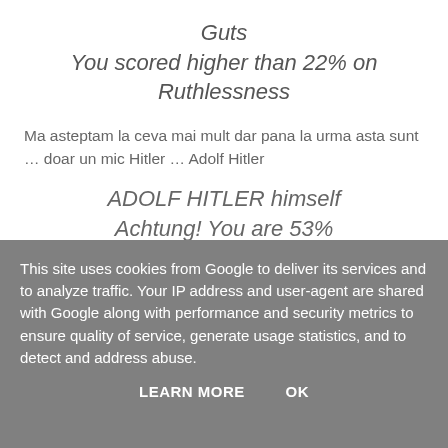Guts
You scored higher than 22% on Ruthlessness
Ma asteptam la ceva mai mult dar pana la urma asta sunt … doar un mic Hitler … Adolf Hitler
ADOLF HITLER himself Achtung! You are 53% brainwashworthy, 50%...
This site uses cookies from Google to deliver its services and to analyze traffic. Your IP address and user-agent are shared with Google along with performance and security metrics to ensure quality of service, generate usage statistics, and to detect and address abuse.
LEARN MORE   OK